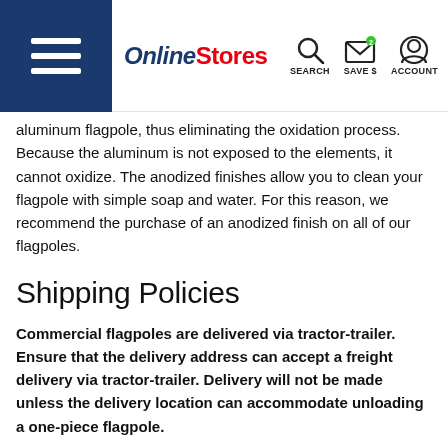Online Stores — SEARCH, SAVE $, ACCOUNT
aluminum flagpole, thus eliminating the oxidation process. Because the aluminum is not exposed to the elements, it cannot oxidize. The anodized finishes allow you to clean your flagpole with simple soap and water. For this reason, we recommend the purchase of an anodized finish on all of our flagpoles.
Shipping Policies
Commercial flagpoles are delivered via tractor-trailer. Ensure that the delivery address can accept a freight delivery via tractor-trailer. Delivery will not be made unless the delivery location can accommodate unloading a one-piece flagpole.
Commercial flagpoles weigh in excess of 200 lbs. Arrange for assistance in unloading at time of delivery. Ensure that you have suitable handling equipment available on-site at the time of delivery.
A representative from the freight delivery company will contact you to arrange a time for drop-off. Please provide a valid phone number where you can be reached. There MUST be someone at the delivery